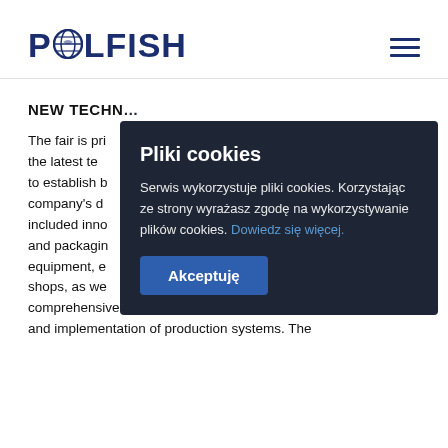POLFISH [logo] [hamburger menu]
NEW TECHN…
The fair is pri… the latest te… to establish b… company's d… included inno… and packagin… equipment, e… shops, as we… comprehensive design of technological lines and implementation of production systems. The
[Figure (screenshot): Cookie consent modal with title 'Pliki cookies', body text in Polish about cookie usage with a link 'Dowiedz się więcej.' and an 'Akceptuję' button.]